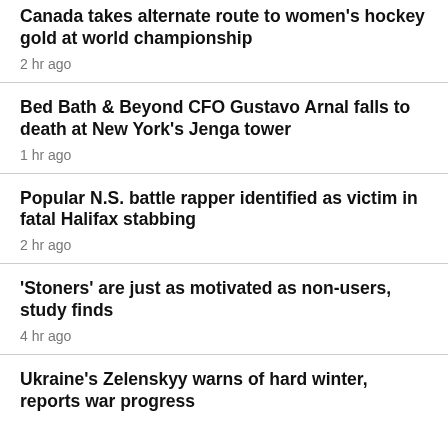Canada takes alternate route to women's hockey gold at world championship
2 hr ago
Bed Bath & Beyond CFO Gustavo Arnal falls to death at New York's Jenga tower
1 hr ago
Popular N.S. battle rapper identified as victim in fatal Halifax stabbing
2 hr ago
'Stoners' are just as motivated as non-users, study finds
4 hr ago
Ukraine's Zelenskyy warns of hard winter, reports war progress